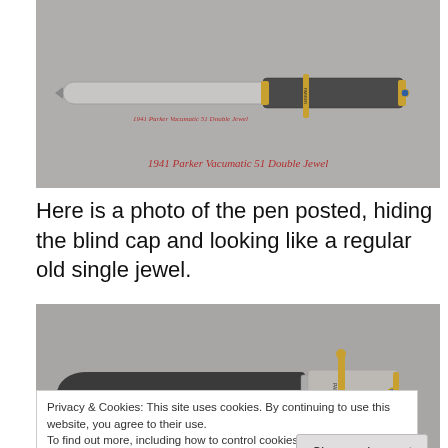[Figure (photo): Photo of a 1941 Parker Vacumatic 51 Double Jewel fountain pen, shown unposted with transparent barrel and dark cap with gold trim]
1941 Parker Vacumatic 51 Double Jewel
Here is a photo of the pen posted, hiding the blind cap and looking like a regular old single jewel.
[Figure (photo): Photo of the same 1941 Parker Vacumatic 51 Double Jewel pen posted (cap on tail end), showing dark barrel with transparent section and gold clip]
Privacy & Cookies: This site uses cookies. By continuing to use this website, you agree to their use.
To find out more, including how to control cookies, see here: Cookie Policy
First, the date imprint for the first year models is on the